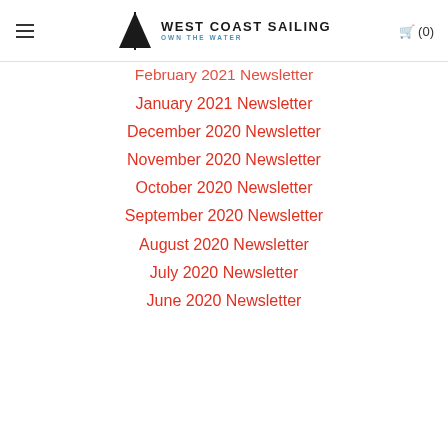West Coast Sailing — Own the Water | (0)
February 2021 Newsletter
January 2021 Newsletter
December 2020 Newsletter
November 2020 Newsletter
October 2020 Newsletter
September 2020 Newsletter
August 2020 Newsletter
July 2020 Newsletter
June 2020 Newsletter